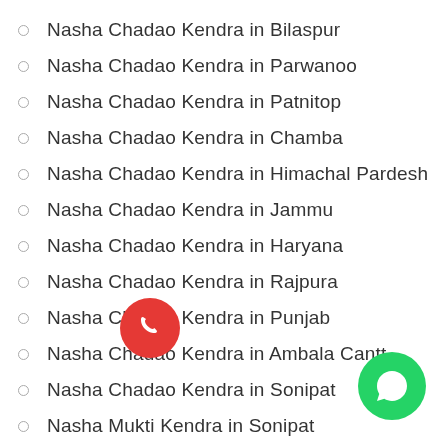Nasha Chadao Kendra in Bilaspur
Nasha Chadao Kendra in Parwanoo
Nasha Chadao Kendra in Patnitop
Nasha Chadao Kendra in Chamba
Nasha Chadao Kendra in Himachal Pardesh
Nasha Chadao Kendra in Jammu
Nasha Chadao Kendra in Haryana
Nasha Chadao Kendra in Rajpura
Nasha Chadao Kendra in Punjab
Nasha Chadao Kendra in Ambala Cantt
Nasha Chadao Kendra in Sonipat
Nasha Mukti Kendra in Sonipat
Nasha Chadao Kendra in Patiala
Nasha Chadao Kendra in Chandigarh
Nasha Chadao Kendra in Ludhiana